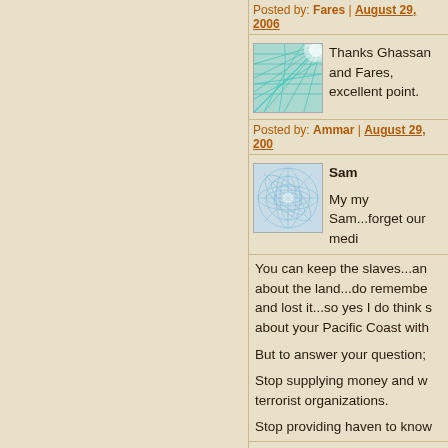Posted by: Fares | August 29, 2006
[Figure (illustration): Abstract teal/green geometric grid pattern avatar for first commenter]
Thanks Ghassan and Fares, excellent point.
Posted by: Ammar | August 29, 200...
[Figure (illustration): Abstract light blue circular geometric pattern avatar for second commenter]
Sam
My my Sam...forget our medi...
You can keep the slaves...and about the land...do remember and lost it...so yes I do think s about your Pacific Coast with
But to answer your question;
Stop supplying money and w terrorist organizations.
Stop providing haven to know...